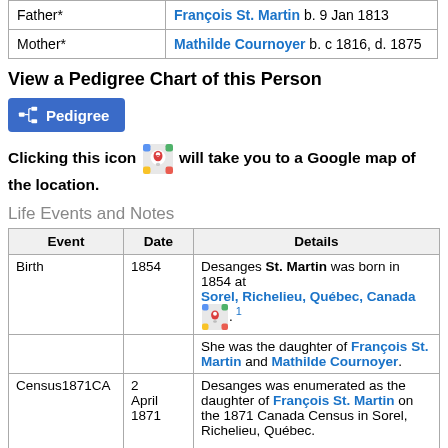|  |  |
| --- | --- |
| Father* | François St. Martin b. 9 Jan 1813 |
| Mother* | Mathilde Cournoyer b. c 1816, d. 1875 |
View a Pedigree Chart of this Person
Pedigree (button)
Clicking this icon [Google Maps icon] will take you to a Google map of the location.
Life Events and Notes
| Event | Date | Details |
| --- | --- | --- |
| Birth | 1854 | Desanges St. Martin was born in 1854 at Sorel, Richelieu, Québec, Canada . 1 |
|  |  | She was the daughter of François St. Martin and Mathilde Cournoyer. |
| Census1871CA | 2 April 1871 | Desanges was enumerated as the daughter of François St. Martin on the 1871 Canada Census in Sorel, Richelieu, Québec.

Also residing in the same household were Mathilde Cournoyer, François St. Martin, |